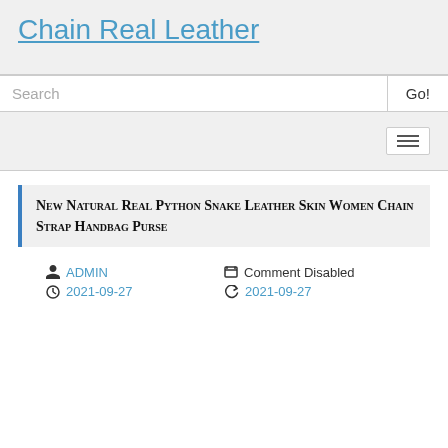Chain Real Leather
Search | Go!
New Natural Real Python Snake Leather Skin Women Chain Strap Handbag Purse
ADMIN · 2021-09-27 · Comment Disabled · 2021-09-27